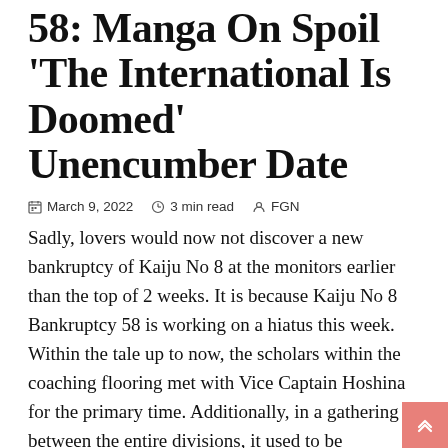58: Manga On Spoil 'The International Is Doomed' Unencumber Date
March 9, 2022  3 min read  FGN
Sadly, lovers would now not discover a new bankruptcy of Kaiju No 8 at the monitors earlier than the top of 2 weeks. It is because Kaiju No 8 Bankruptcy 58 is working on a hiatus this week. Within the tale up to now, the scholars within the coaching flooring met with Vice Captain Hoshina for the primary time. Additionally, in a gathering between the entire divisions, it used to be published that Kaiju no 9 used to be growing extra monsters internationally. Thus, if the entire divisions don't cooperate